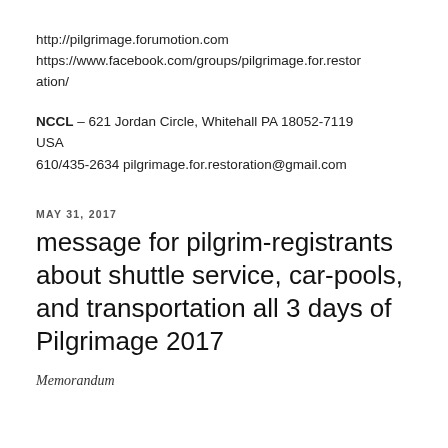http://pilgrimage.forumotion.com
https://www.facebook.com/groups/pilgrimage.for.restoration/
NCCL – 621 Jordan Circle, Whitehall PA 18052-7119 USA
610/435-2634 pilgrimage.for.restoration@gmail.com
MAY 31, 2017
message for pilgrim-registrants about shuttle service, car-pools, and transportation all 3 days of Pilgrimage 2017
Memorandum